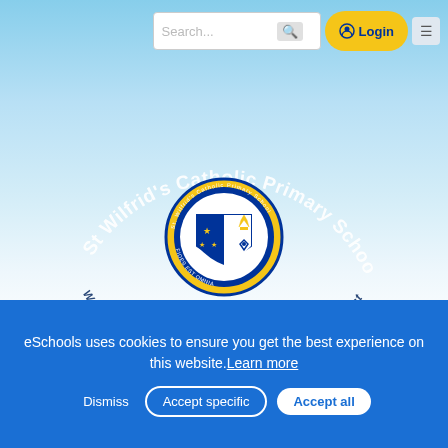Search... Login
[Figure (logo): St Wilfrid's Catholic Primary School crest logo with circular text reading 'St Wilfrid's Catholic Primary School' arched above and 'We strive to follow Christ's example to always do our best' arched below, centered around a shield emblem on a light blue gradient background]
eSchools uses cookies to ensure you get the best experience on this website. Learn more
Dismiss  Accept specific  Accept all